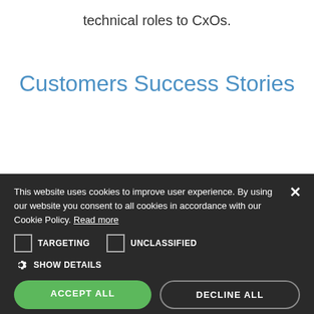technical roles to CxOs.
Customers Success Stories
[Figure (photo): Decorative image strip, brownish/tan tones]
This website uses cookies to improve user experience. By using our website you consent to all cookies in accordance with our Cookie Policy. Read more
TARGETING   UNCLASSIFIED
SHOW DETAILS
ACCEPT ALL
DECLINE ALL
POWERED BY COOKIE-SCRIPT